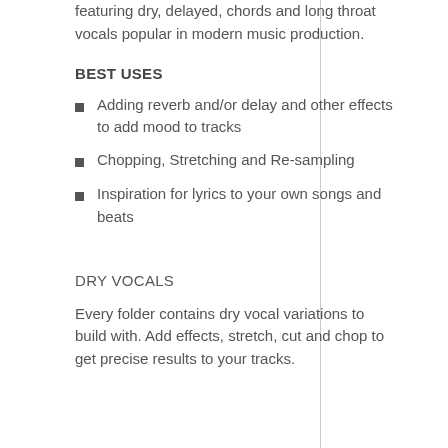featuring dry, delayed, chords and long throat vocals popular in modern music production.
BEST USES
Adding reverb and/or delay and other effects to add mood to tracks
Chopping, Stretching and Re-sampling
Inspiration for lyrics to your own songs and beats
DRY VOCALS
Every folder contains dry vocal variations to build with. Add effects, stretch, cut and chop to get precise results to your tracks.